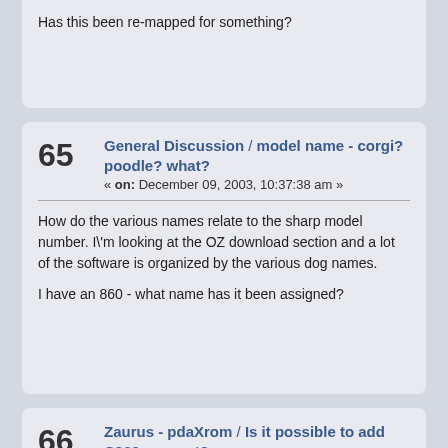Has this been re-mapped for something?
65  General Discussion / model name - corgi? poodle? what?
« on: December 09, 2003, 10:37:38 am »
How do the various names relate to the sharp model number.  I\'m looking at the OZ download section and a lot of the software is organized by the various dog names.

I have an 860 - what name has it been assigned?
66  Zaurus - pdaXrom / Is it possible to add C860 support?
« on: December 08, 2003, 03:33:15 pm »
I have an 860 and I tried X11 and cacko but no go.  I also tried OZ and it failed.  But only until there was a new updater.sh that recognised the 860 model number.  Once recognised, the install of OZ was fine.

Can the X11 or Cacko install just allow installation on the 860. I\'d be happy to do the initial testing to see how things work.